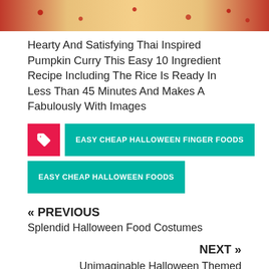[Figure (photo): Close-up photo of a Thai-inspired pumpkin curry dish with red curry and rice visible from above]
Hearty And Satisfying Thai Inspired Pumpkin Curry This Easy 10 Ingredient Recipe Including The Rice Is Ready In Less Than 45 Minutes And Makes A Fabulously With Images
EASY CHEAP HALLOWEEN FINGER FOODS
EASY CHEAP HALLOWEEN FOODS
« PREVIOUS
Splendid Halloween Food Costumes
NEXT »
Unimaginable Halloween Themed Halloween Baby Shower Food Ideas